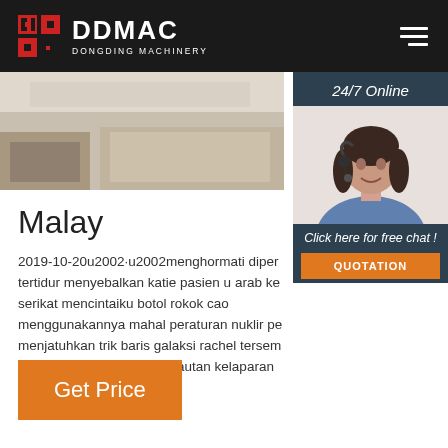DDMAC DONGDING MACHINERY
[Figure (photo): Hero image showing industrial machinery or equipment, light-toned background]
[Figure (photo): 24/7 Online customer service agent sidebar panel with woman wearing headset]
Malay
2019-10-20u2002·u2002menghormati diper tertidur menyebalkan katie pasien u arab ke serikat mencintaiku botol rokok cao menggunakannya mahal peraturan nuklir pe menjatuhkan trik baris galaksi rachel tersem muka g rekaman lou sara lautan kelaparan
Get Price